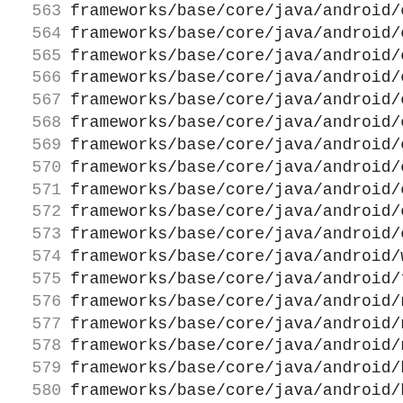563  frameworks/base/core/java/android/conte
564  frameworks/base/core/java/android/conte
565  frameworks/base/core/java/android/conte
566  frameworks/base/core/java/android/conte
567  frameworks/base/core/java/android/conte
568  frameworks/base/core/java/android/conte
569  frameworks/base/core/java/android/conte
570  frameworks/base/core/java/android/conte
571  frameworks/base/core/java/android/conte
572  frameworks/base/core/java/android/conte
573  frameworks/base/core/java/android/conte
574  frameworks/base/core/java/android/widge
575  frameworks/base/core/java/android/text/
576  frameworks/base/core/java/android/nfc/T
577  frameworks/base/core/java/android/nfc/N
578  frameworks/base/core/java/android/nfc/N
579  frameworks/base/core/java/android/bluet
580  frameworks/base/core/java/android/bluet
581  frameworks/base/core/java/android/bluet
582  frameworks/base/core/java/android/bluet
583  frameworks/base/core/java/android/bluet
584  frameworks/base/core/java/android/bluet